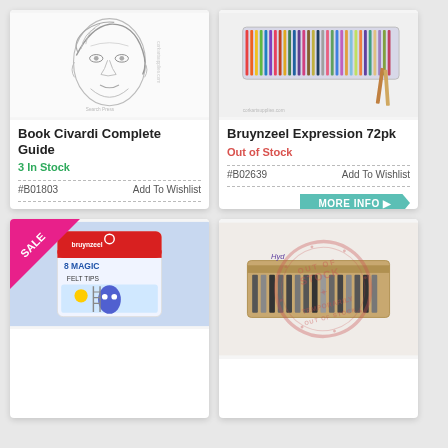[Figure (illustration): Pencil sketch drawing of a child's face, book cover for 'Civardi Complete Guide']
Book Civardi Complete Guide
3 In Stock
#B01803
Add To Wishlist
MORE INFO
€12.50
ADD TO CART
[Figure (photo): Bruynzeel Expression colored pencils set of 72 in a tin case]
Bruynzeel Expression 72pk
Out of Stock
#B02639
Add To Wishlist
MORE INFO
€49.95
ADD TO CART
NOTIFY ME
[Figure (photo): Bruynzeel 8 Magic felt tips pack with SALE banner, red packaging showing colorful characters]
[Figure (photo): Pencil set in a roll case, out of stock stamp overlay showing 'OUT OF STOCK TEMPORARILY OUT OF STOCK']